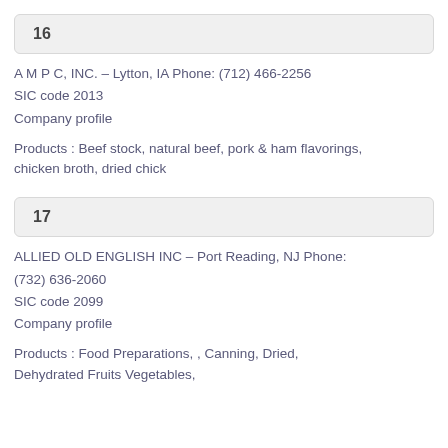16
A M P C, INC. – Lytton, IA Phone: (712) 466-2256
SIC code 2013
Company profile
Products : Beef stock, natural beef, pork & ham flavorings, chicken broth, dried chick
17
ALLIED OLD ENGLISH INC – Port Reading, NJ Phone: (732) 636-2060
SIC code 2099
Company profile
Products : Food Preparations, , Canning, Dried, Dehydrated Fruits Vegetables,